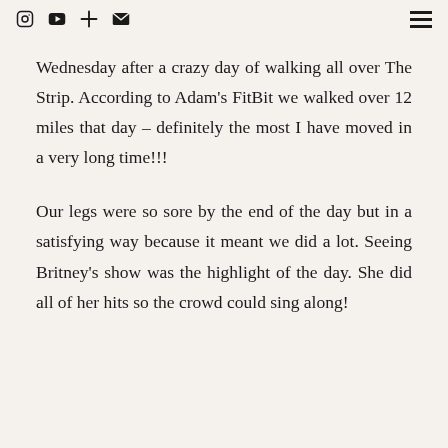[icons: Instagram, YouTube, Plus, Email] [hamburger menu]
Wednesday after a crazy day of walking all over The Strip. According to Adam's FitBit we walked over 12 miles that day – definitely the most I have moved in a very long time!!!
Our legs were so sore by the end of the day but in a satisfying way because it meant we did a lot. Seeing Britney's show was the highlight of the day. She did all of her hits so the crowd could sing along!